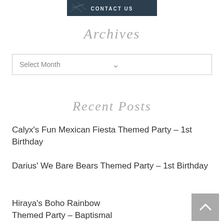[Figure (screenshot): Contact Us banner button with dark teal/navy background and geometric line design, white text reading CONTACT US]
Archives
[Figure (screenshot): Dropdown select box with placeholder text 'Select Month' and a chevron/arrow on the right]
Recent Posts
Calyx's Fun Mexican Fiesta Themed Party – 1st Birthday
Darius' We Bare Bears Themed Party – 1st Birthday
Hiraya's Boho Rainbow Themed Party – Baptismal Celebration
[Figure (screenshot): Scroll-to-top button: grey square with upward pointing chevron/caret]